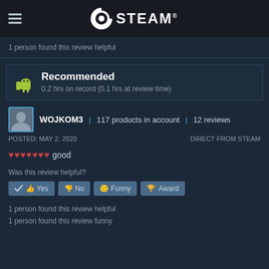STEAM
1 person found this review helpful
Recommended
0.2 hrs on record (0.1 hrs at review time)
WOJKOM3 | 117 products in account | 12 reviews
POSTED: MAY 2, 2020
DIRECT FROM STEAM
♥♥♥♥♥♥♥ good
Was this review helpful?
Yes
No
Funny
Award
1 person found this review helpful
1 person found this review funny